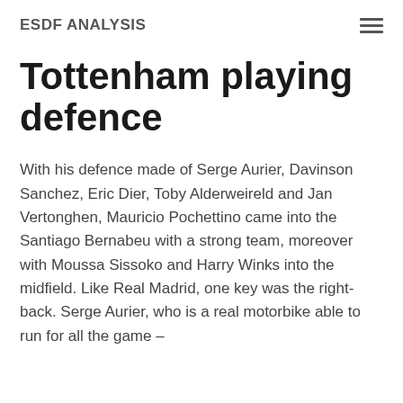ESDF ANALYSIS
Tottenham playing defence
With his defence made of Serge Aurier, Davinson Sanchez, Eric Dier, Toby Alderweireld and Jan Vertonghen, Mauricio Pochettino came into the Santiago Bernabeu with a strong team, moreover with Moussa Sissoko and Harry Winks into the midfield. Like Real Madrid, one key was the right-back. Serge Aurier, who is a real motorbike able to run for all the game –